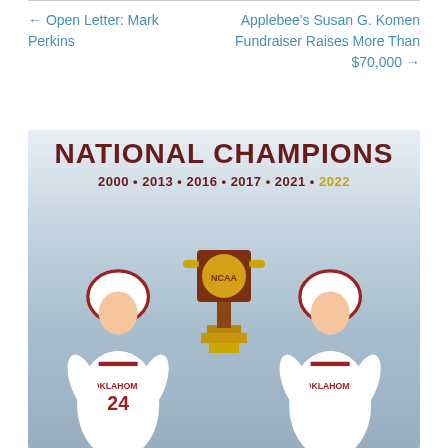← Open Letter: Mark Perkins
Applebee's Susan G. Komen Fundraiser Raises More Than $70,000 →
[Figure (photo): Oklahoma Sooners softball National Champions banner with two players in white uniforms with red accents and an NCAA trophy. Text reads: NATIONAL CHAMPIONS 2000 • 2013 • 2016 • 2017 • 2021 • 2022]